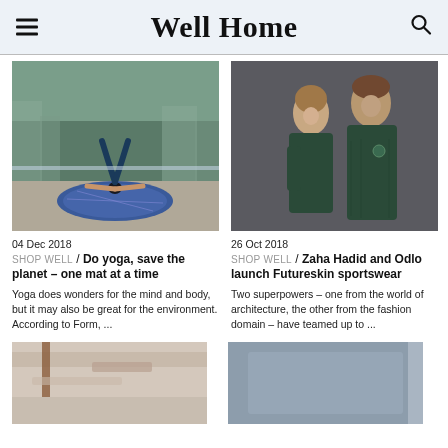Well Home
[Figure (photo): Person doing a yoga pose (headstand) on a circular yoga mat on an outdoor rooftop with city skyline in background]
04 Dec 2018
SHOP WELL / Do yoga, save the planet – one mat at a time
Yoga does wonders for the mind and body, but it may also be great for the environment. According to Form, ...
[Figure (photo): A man and woman wearing dark green/teal Odlo Futureskin sportswear, posing against a grey background]
26 Oct 2018
SHOP WELL / Zaha Hadid and Odlo launch Futureskin sportswear
Two superpowers – one from the world of architecture, the other from the fashion domain – have teamed up to ...
[Figure (photo): Partial view of a bathroom or interior space with wooden/terracotta elements]